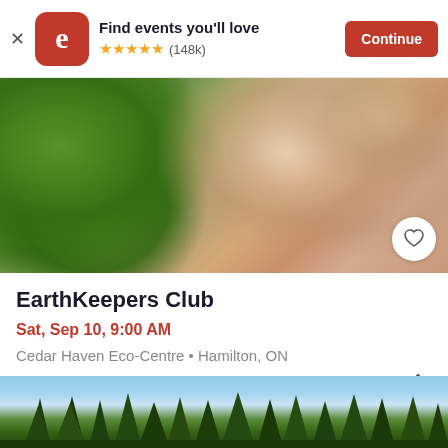[Figure (screenshot): Eventbrite app install banner with logo, 'Find events you'll love', 5 stars, (148k) reviews, and Continue button]
[Figure (photo): Woman smiling broadly outdoors among green leafy plants, blonde hair, close-up portrait]
EarthKeepers Club
Sat, Sep 10, 9:00 AM
Cedar Haven Eco-Centre • Hamilton, ON
Free
[Figure (photo): Landscape photo showing dark green conifer trees against blue sky with clouds]